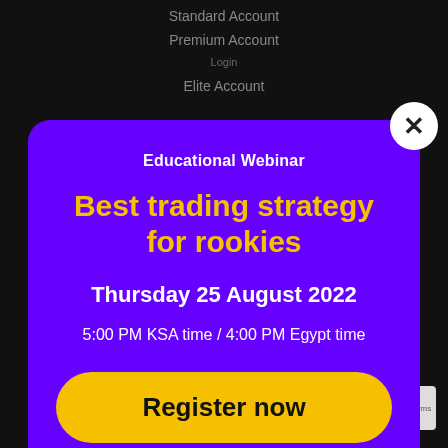Standard Account
Premium Account
Elite Account
Educational Webinar
Best trading strategy for rookies
Thursday 25 August 2022
5:00 PM KSA time / 4:00 PM Egypt time
Register now
MT5 for iPhone and iPad
MT5 MultiTerminal
Privacy · Terms